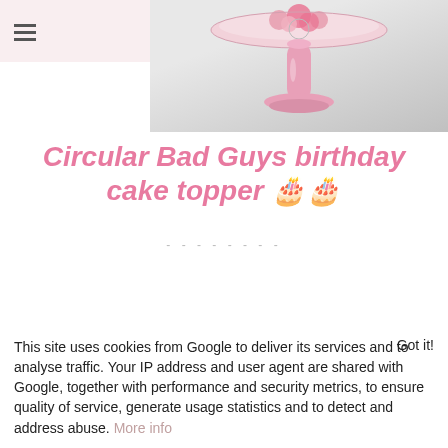[Figure (photo): Photo of a pink cake stand with flowers on top, shown against a light grey background]
Circular Bad Guys birthday cake topper 🎂🎂
This site uses cookies from Google to deliver its services and to analyse traffic. Your IP address and user agent are shared with Google, together with performance and security metrics, to ensure quality of service, generate usage statistics and to detect and address abuse. More info
Got it!